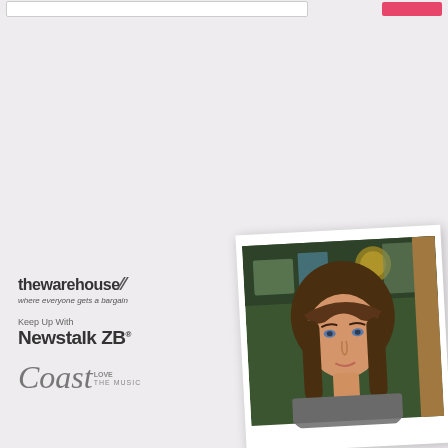[Figure (screenshot): Top navigation bar with search input box and pink/coral search button on right side]
[Figure (photo): Polaroid-style photo of a woman with brown hair, positioned in lower right, slightly rotated, with bookshelf/antiques in background]
[Figure (logo): The Warehouse logo - 'thewarehouse//' with tagline 'where everyone gets a bargain']
[Figure (logo): Newstalk ZB logo with 'Keep Up With' text above]
[Figure (logo): Coast radio logo with 'LOVE THE MUSIC' text]